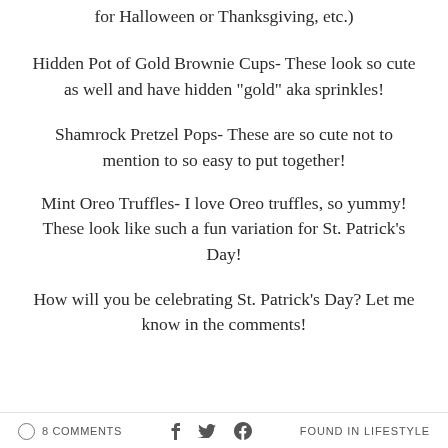for Halloween or Thanksgiving, etc.)
Hidden Pot of Gold Brownie Cups- These look so cute as well and have hidden "gold" aka sprinkles!
Shamrock Pretzel Pops- These are so cute not to mention to so easy to put together!
Mint Oreo Truffles- I love Oreo truffles, so yummy! These look like such a fun variation for St. Patrick's Day!
How will you be celebrating St. Patrick's Day? Let me know in the comments!
8 COMMENTS   FOUND IN LIFESTYLE